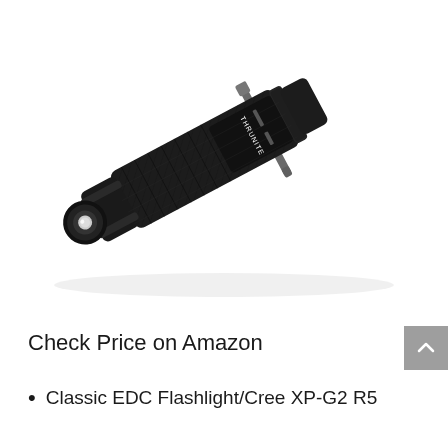[Figure (photo): A black ThruNite tactical EDC flashlight photographed diagonally against a white background. The flashlight has a knurled grip body, a clip on the right side, and the lens/emitter visible at the left end. The brand name THRUNITE is engraved on the body.]
Check Price on Amazon
Classic EDC Flashlight/Cree XP-G2 R5 LED with a life of 30...